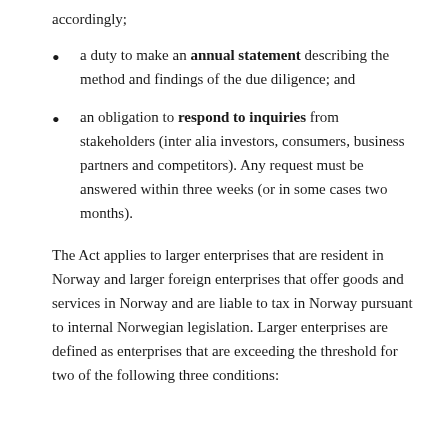accordingly;
a duty to make an annual statement describing the method and findings of the due diligence; and
an obligation to respond to inquiries from stakeholders (inter alia investors, consumers, business partners and competitors). Any request must be answered within three weeks (or in some cases two months).
The Act applies to larger enterprises that are resident in Norway and larger foreign enterprises that offer goods and services in Norway and are liable to tax in Norway pursuant to internal Norwegian legislation. Larger enterprises are defined as enterprises that are exceeding the threshold for two of the following three conditions: